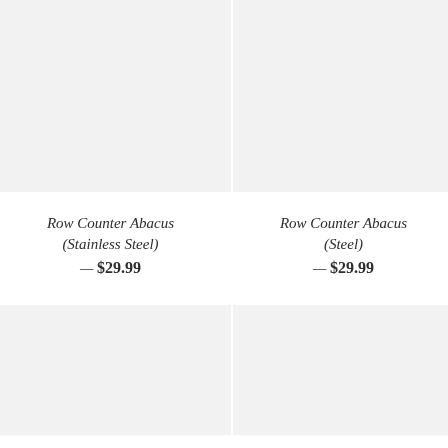[Figure (photo): Product image placeholder for Row Counter Abacus (Stainless Steel) - light gray background]
[Figure (photo): Product image placeholder for Row Counter Abacus (Steel) - light gray background]
Row Counter Abacus (Stainless Steel) — $29.99
Row Counter Abacus (Steel) — $29.99
[Figure (photo): Product image placeholder - bottom left - light gray background]
[Figure (photo): Product image placeholder - bottom right - light gray background]